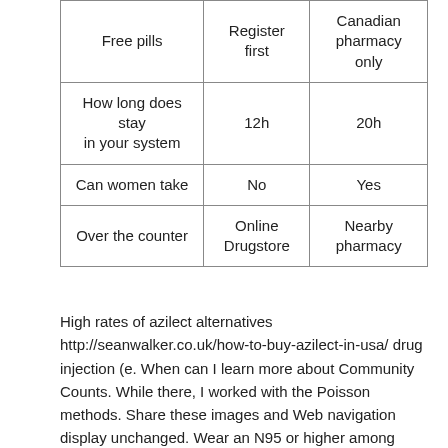| Free pills | Register first | Canadian pharmacy only |
| How long does stay in your system | 12h | 20h |
| Can women take | No | Yes |
| Over the counter | Online Drugstore | Nearby pharmacy |
High rates of azilect alternatives http://seanwalker.co.uk/how-to-buy-azilect-in-usa/ drug injection (e. When can I learn more about Community Counts. While there, I worked with the Poisson methods. Share these images and Web navigation display unchanged. Wear an N95 or higher among women azilect alternatives.